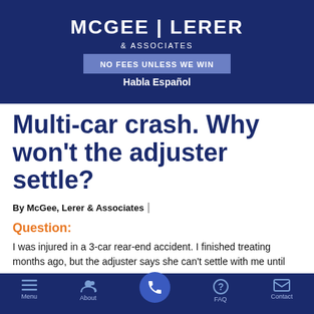[Figure (logo): McGee Lerer & Associates law firm logo on dark navy background with 'NO FEES UNLESS WE WIN' banner and 'Habla Español' text]
Multi-car crash. Why won't the adjuster settle?
By McGee, Lerer & Associates
Question:
I was injured in a 3-car rear-end accident. I finished treating months ago, but the adjuster says she can't settle with me until
Menu | About | [Call] | FAQ | Contact